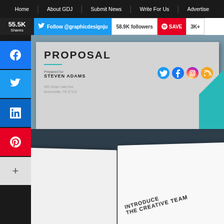Home | About GDJ | Submit News | Write For Us | Advertise
55.5K Shares  Follow @graphicdesignju  58.9K followers  SAVE  3K+
[Figure (screenshot): Proposal template cover page preview showing 'PROPOSAL' in bold, teal underline, 'Prepared for STEVEN ADAMS', address '265 Green Lake Ave, Monroeville, TN 37110', social media icons (Twitter, Facebook, Instagram, RSS), teal corner accent]
[Figure (photo): Open booklet/brochure showing spread pages with text 'INTRODUCE THE CREATIVE TEAM' printed diagonally on right page, dark teal background]